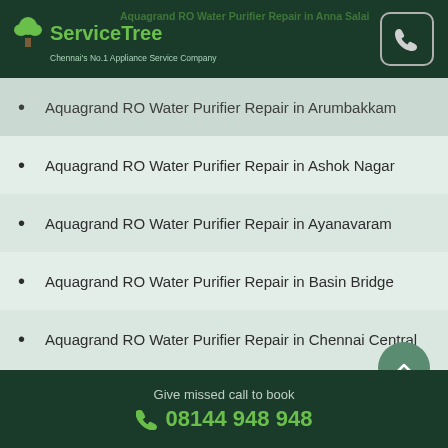ServiceTree – Chennai's No.1 Appliance Service Company
Aquagrand RO Water Purifier Repair in Arumbakkam
Aquagrand RO Water Purifier Repair in Ashok Nagar
Aquagrand RO Water Purifier Repair in Ayanavaram
Aquagrand RO Water Purifier Repair in Basin Bridge
Aquagrand RO Water Purifier Repair in Chennai Central
Give missed call to book 08144 948 948